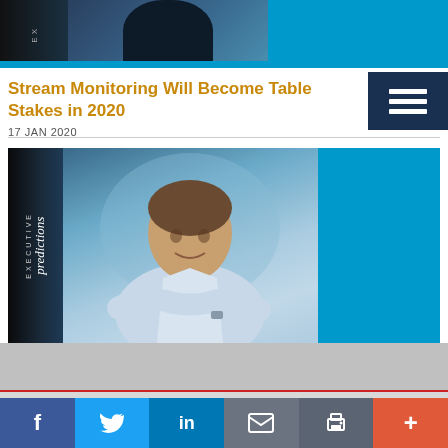[Figure (photo): Top cropped banner showing executive predictions image with dark left sidebar and blue background, person partially visible]
Stream Monitoring Will Become Table Stakes in 2020
17 JAN 2020
[Figure (photo): Executive Predictions banner image with dark left sidebar displaying 'EXECUTIVE predictions' text vertically, center showing a smiling man with arms crossed wearing a light blue shirt, and bright blue right panel]
[Figure (other): Social share bar with Facebook, Twitter, LinkedIn, Email, Print, and More buttons]